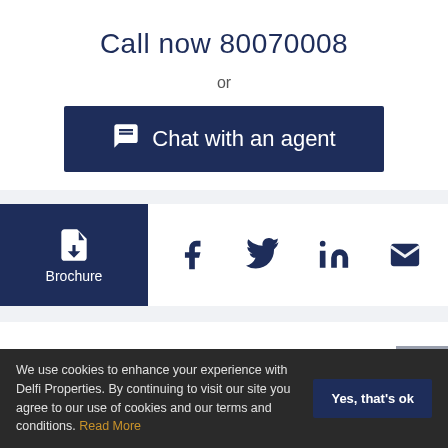Call now 80070008
or
Chat with an agent
[Figure (other): Brochure download button with document icon and social sharing icons: Facebook, Twitter, LinkedIn, Email]
Contact Request
We use cookies to enhance your experience with Delfi Properties. By continuing to visit our site you agree to our use of cookies and our terms and conditions. Read More   Yes, that's ok